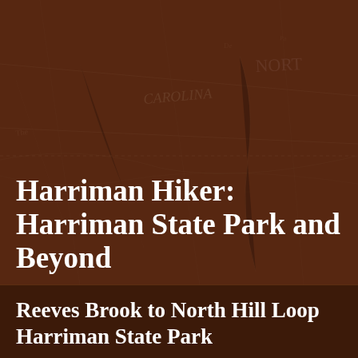[Figure (illustration): Dark brown antique map background texture with faded cartographic details, used as a decorative header background]
Harriman Hiker: Harriman State Park and Beyond
Follow Hershel Friedman's hiking excursions in all types of weather and terrain in the lower New York / Hudson Highlands area. From short hikes in Harriman State Park to insane scrambles in the Gunks, you can follow it all here.
Sunday, January 20, 2013
Reeves Brook to North Hill Loop Harriman State Park